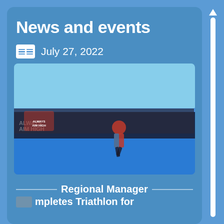News and events
July 27, 2022
[Figure (photo): A runner in red and blue athletic gear running on a blue track at a triathlon event. A banner in the background reads 'ALWAYS AIM HIGH'.]
Regional Manager Completes Triathlon for